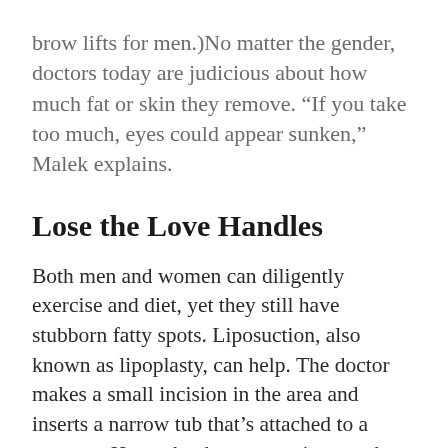brow lifts for men.)No matter the gender, doctors today are judicious about how much fat or skin they remove. “If you take too much, eyes could appear sunken,” Malek explains.
Lose the Love Handles
Both men and women can diligently exercise and diet, yet they still have stubborn fatty spots. Liposuction, also known as lipoplasty, can help. The doctor makes a small incision in the area and inserts a narrow tub that’s attached to a vacuum. He or she then moves it around to suck out the fat. Several enhanced devices reportedly improve and facilitate the standard procedure. Ultrasound-